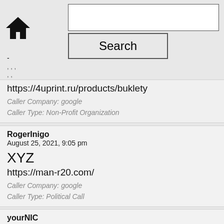Home Search
-
, , ,
, ,
https://4uprint.ru/products/buklety
Caller Company: google
Caller Type: Non-Profit Organization
RogerInigo
August 25, 2021, 9:05 pm
XYZ
https://man-r20.com/
Caller Company: google
Caller Type: Political Call
yourNIC
August 25, 2021, 11:19 pm